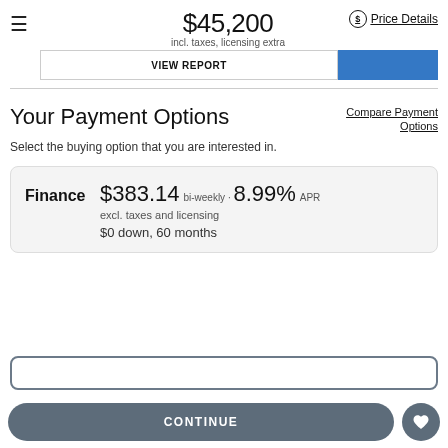$45,200 incl. taxes, licensing extra
Price Details
VIEW REPORT
Your Payment Options
Compare Payment Options
Select the buying option that you are interested in.
Finance  $383.14 bi-weekly · 8.99% APR  excl. taxes and licensing  $0 down, 60 months
CONTINUE